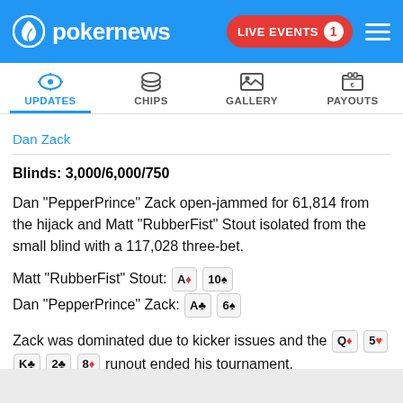pokernews — LIVE EVENTS 1
UPDATES | CHIPS | GALLERY | PAYOUTS
Dan Zack
Blinds: 3,000/6,000/750
Dan "PepperPrince" Zack open-jammed for 61,814 from the hijack and Matt "RubberFist" Stout isolated from the small blind with a 117,028 three-bet.
Matt "RubberFist" Stout: A♦ 10♠
Dan "PepperPrince" Zack: A♣ 6♠
Zack was dominated due to kicker issues and the Q♦ 5♥ K♣ 2♣ 8♦ runout ended his tournament.